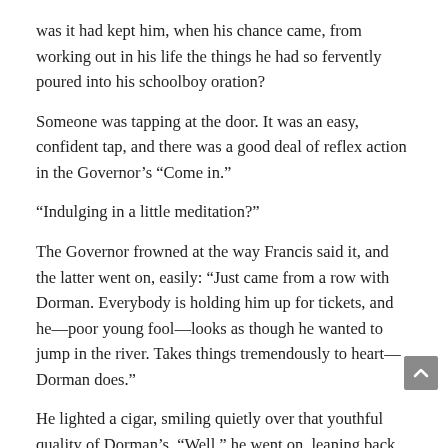was it had kept him, when his chance came, from working out in his life the things he had so fervently poured into his schoolboy oration?
Someone was tapping at the door. It was an easy, confident tap, and there was a good deal of reflex action in the Governor’s “Come in.”
“Indulging in a little meditation?”
The Governor frowned at the way Francis said it, and the latter went on, easily: “Just came from a row with Dorman. Everybody is holding him up for tickets, and he—poor young fool—looks as though he wanted to jump in the river. Takes things tremendously to heart—Dorman does.”
He lighted a cigar, smiling quietly over that youthful quality of Dorman’s. “Well,” he went on, leaning back in his chair and looking about the room, “I thought I’d look in on you for a